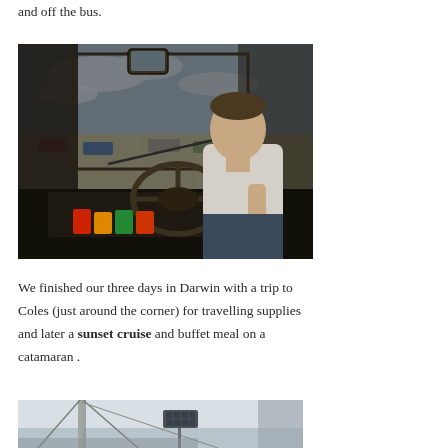and off the bus.
[Figure (photo): View from inside a bus cab showing the driver seated at the steering wheel, looking forward through the windshield at a parking lot and waterfront area under a partly cloudy sky. Bus dashboard and controls visible in foreground.]
We finished our three days in Darwin with a trip to Coles (just around the corner) for travelling supplies and later a sunset cruise and buffet meal on a catamaran .
[Figure (photo): Bottom portion of a photo showing the mast or structure of a catamaran against a pale sky, with what appears to be a solar panel or light fixture visible.]